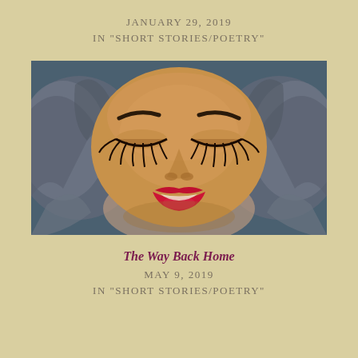JANUARY 29, 2019
IN "SHORT STORIES/POETRY"
[Figure (illustration): Digital illustration of a woman's face with closed eyes, bold red lips, wearing grey swirling hair framing her face. The illustration has a dreamy, stylized quality with a dark blue-grey background.]
The Way Back Home
MAY 9, 2019
IN "SHORT STORIES/POETRY"